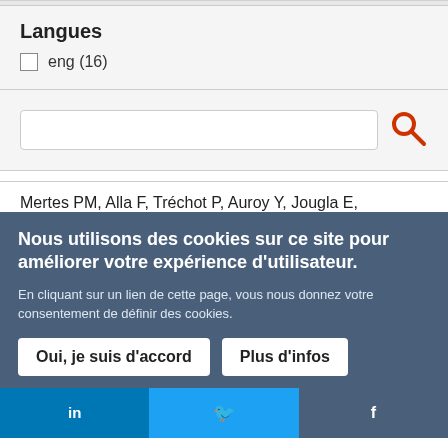Langues
eng (16)
[Figure (screenshot): Search input box with orange magnifying glass search icon]
Mertes PM, Alla F, Tréchot P, Auroy Y, Jougla E,
Nous utilisons des cookies sur ce site pour améliorer votre expérience d'utilisateur.
En cliquant sur un lien de cette page, vous nous donnez votre consentement de définir des cookies.
Oui, je suis d'accord
Plus d'infos
[Figure (screenshot): Social media bar with LinkedIn, Twitter, and Facebook buttons]